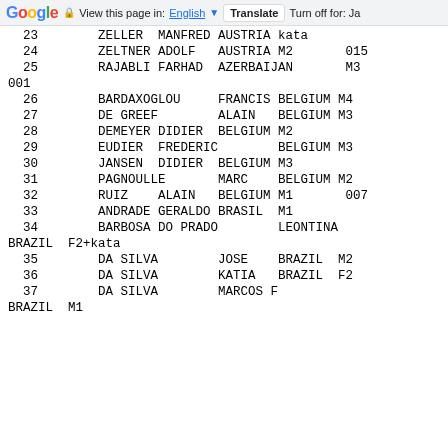Google | View this page in: English [dropdown] | Translate | Turn off for: Ja
| # | Last Name | First Name | Country | Category | Code |
| --- | --- | --- | --- | --- | --- |
| 23 | ZELLER | MANFRED | AUSTRIA | kata |  |
| 24 | ZELTNER | ADOLF | AUSTRIA | M2 | 015 |
| 25 | RAJABLI | FARHAD | AZERBAIJAN | M3 | 001 |
| 26 | BARDAXOGLOU |  | FRANCIS | BELGIUM | M4 |
| 27 | DE GREEF |  | ALAIN | BELGIUM | M3 |
| 28 | DEMEYER | DIDIER | BELGIUM | M2 |  |
| 29 | EUDIER | FREDERIC |  | BELGIUM | M3 |
| 30 | JANSEN | DIDIER | BELGIUM | M3 |  |
| 31 | PAGNOULLE |  | MARC | BELGIUM | M2 |
| 32 | RUIZ | ALAIN | BELGIUM | M1 | 007 |
| 33 | ANDRADE | GERALDO | BRASIL | M1 |  |
| 34 | BARBOSA DO PRADO |  | LEONTINA | BRAZIL | F2+kata |
| 35 | DA SILVA |  | JOSE | BRAZIL | M2 |
| 36 | DA SILVA |  | KATIA | BRAZIL | F2 |
| 37 | DA SILVA |  | MARCOS F | BRAZIL | M1 |